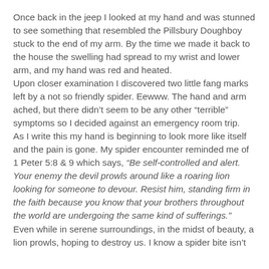Once back in the jeep I looked at my hand and was stunned to see something that resembled the Pillsbury Doughboy stuck to the end of my arm. By the time we made it back to the house the swelling had spread to my wrist and lower arm, and my hand was red and heated.
Upon closer examination I discovered two little fang marks left by a not so friendly spider. Eewww. The hand and arm ached, but there didn't seem to be any other “terrible” symptoms so I decided against an emergency room trip.
As I write this my hand is beginning to look more like itself and the pain is gone. My spider encounter reminded me of 1 Peter 5:8 & 9 which says, “Be self-controlled and alert. Your enemy the devil prowls around like a roaring lion looking for someone to devour. Resist him, standing firm in the faith because you know that your brothers throughout the world are undergoing the same kind of sufferings.”
Even while in serene surroundings, in the midst of beauty, a lion prowls, hoping to destroy us. I know a spider bite isn’t